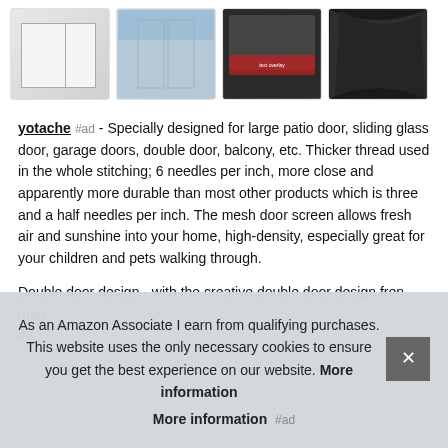[Figure (photo): Row of four product thumbnail images: first shows a white room with furniture dimensions, second shows sliding glass door with blue sky, third shows dark mesh fabric with red text overlay, fourth shows dark gray/black mesh fabric close-up]
yotache #ad - Specially designed for large patio door, sliding glass door, garage doors, double door, balcony, etc. Thicker thread used in the whole stitching; 6 needles per inch, more close and apparently more durable than most other products which is three and a half needles per inch. The mesh door screen allows fresh air and sunshine into your home, high-density, especially great for your children and pets walking through.
Double door design - with the creative double door design fren... mag... thr...
As an Amazon Associate I earn from qualifying purchases. This website uses the only necessary cookies to ensure you get the best experience on our website. More information
More information #ad